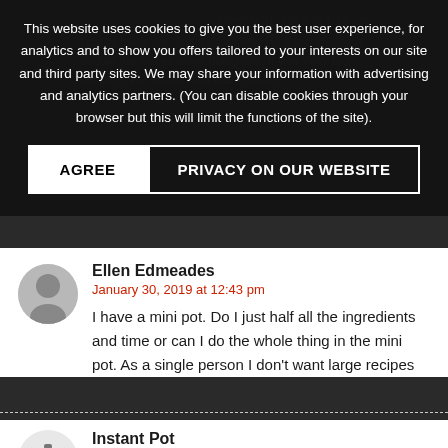This website uses cookies to give you the best user experience, for analytics and to show you offers tailored to your interests on our site and third party sites. We may share your information with advertising and analytics partners. (You can disable cookies through your browser but this will limit the functions of the site).
AGREE | PRIVACY ON OUR WEBSITE
Ellen Edmeades
January 30, 2019 at 12:43 pm
I have a mini pot. Do I just half all the ingredients and time or can I do the whole thing in the mini pot. As a single person I don't want large recipes
Instant Pot
January 30, 2019 at 2:41 pm
Hi Elen.